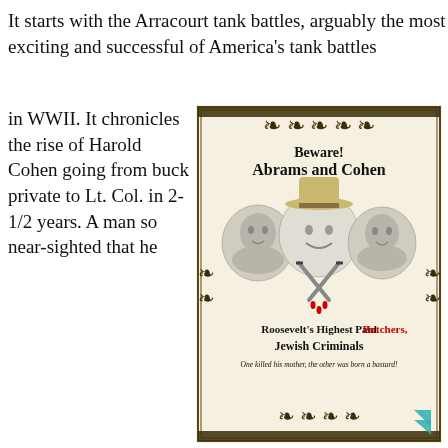It starts with the Arracourt tank battles, arguably the most exciting and successful of America's tank battles in WWII. It chronicles the rise of Harold Cohen going from buck private to Lt. Col. in 2-1/2 years. A man so near-sighted that he
[Figure (illustration): A vintage-style poster with ornamental border on cream background. Title reads 'Beware! Abrams and Cohen' in blackletter font. Three black-and-white portrait photos of men are shown. Crossed knives with blood drops below. Text reads 'Roosevelt's Highest Paid Butchers, Jewish Criminals. One killed his mother, the other was born a bastard!' A teal chevron/arrow appears in the bottom right corner.]